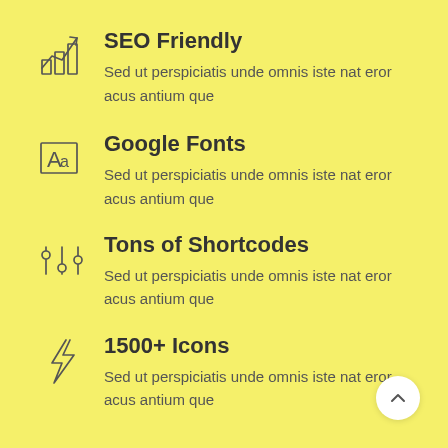SEO Friendly
Sed ut perspiciatis unde omnis iste nat eror acus antium que
Google Fonts
Sed ut perspiciatis unde omnis iste nat eror acus antium que
Tons of Shortcodes
Sed ut perspiciatis unde omnis iste nat eror acus antium que
1500+ Icons
Sed ut perspiciatis unde omnis iste nat eror acus antium que